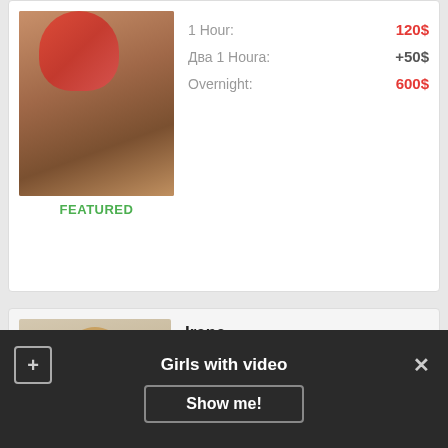[Figure (photo): Person photo in red swimwear]
FEATURED
1 Hour: 120$
Два 1 Houra: +50$
Overnight: 600$
[Figure (photo): Young woman with long hair, blue skirt]
Irene
Age: 19
Height: 165
Weight: 46
Bust: 3
1 Hour: 150$
Два 1 Houra: +90$
All night: 500$
Girls with video
Show me!